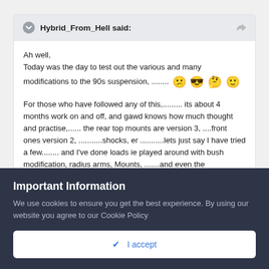Hybrid_From_Hell said:
Ah well,
Today was the day to test out the various and many modifications to the 90s suspension, ........ [emoji faces]

For those who have followed any of this,......... its about 4 months work on and off, and gawd knows how much thought and practise,...... the rear top mounts are version 3, ....front ones version 2, ...........shocks, er ...........lets just say I have tried a few........ and I've done loads ie played around with bush modification, radius arms, Mounts, .......and even the suspension washers, ..............loads of mods....
Important Information
We use cookies to ensure you get the best experience. By using our website you agree to our Cookie Policy
✔ I accept